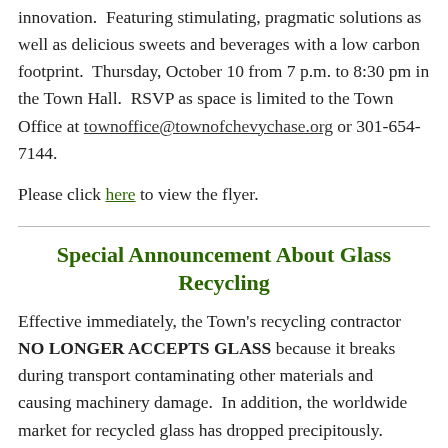innovation.  Featuring stimulating, pragmatic solutions as well as delicious sweets and beverages with a low carbon footprint.  Thursday, October 10 from 7 p.m. to 8:30 pm in the Town Hall.  RSVP as space is limited to the Town Office at townoffice@townofchevychase.org or 301-654-7144.
Please click here to view the flyer.
Special Announcement About Glass Recycling
Effective immediately, the Town's recycling contractor NO LONGER ACCEPTS GLASS because it breaks during transport contaminating other materials and causing machinery damage.  In addition, the worldwide market for recycled glass has dropped precipitously.